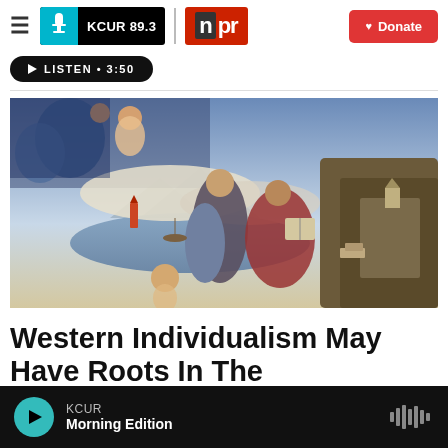KCUR 89.3 | npr | Donate
LISTEN • 3:50
[Figure (photo): Classical painting depicting religious/mythological scene with figures in Renaissance style — angels and figures in the sky, a woman and elderly man with a book in the foreground, a cherub below, and a landscape with water and mountains in the background]
Western Individualism May Have Roots In The
KCUR Morning Edition